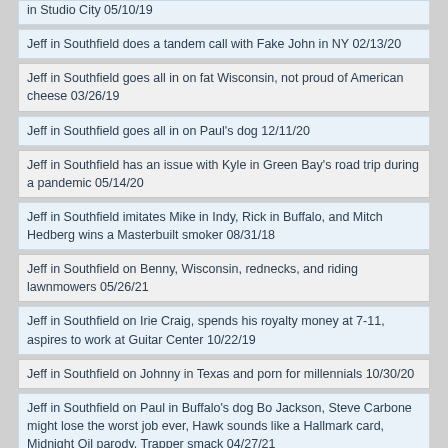in Studio City 05/10/19
Jeff in Southfield does a tandem call with Fake John in NY 02/13/20
Jeff in Southfield goes all in on fat Wisconsin, not proud of American cheese 03/26/19
Jeff in Southfield goes all in on Paul's dog 12/11/20
Jeff in Southfield has an issue with Kyle in Green Bay's road trip during a pandemic 05/14/20
Jeff in Southfield imitates Mike in Indy, Rick in Buffalo, and Mitch Hedberg wins a Masterbuilt smoker 08/31/18
Jeff in Southfield on Benny, Wisconsin, rednecks, and riding lawnmowers 05/26/21
Jeff in Southfield on Irie Craig, spends his royalty money at 7-11, aspires to work at Guitar Center 10/22/19
Jeff in Southfield on Johnny in Texas and porn for millennials 10/30/20
Jeff in Southfield on Paul in Buffalo's dog Bo Jackson, Steve Carbone might lose the worst job ever, Hawk sounds like a Hallmark card, Midnight Oil parody, Trapper smack 04/27/21
Jeff in Southfield on Wells in the 360, Silk Brah, trailer parks, gets racked 06/08/21
Jeff in Southfield on Wisconsin, Kaleb in Green Bay, and Brad in Corona 06/28/19
Jeff in Southfield responds to a Kyle in Green Bay tweet, questions his marketing strategy 10/09/19
Jeff in Southfield returns with takes on Michigan weed laws and Rick in